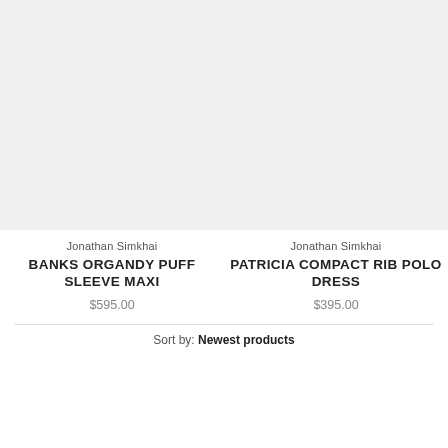[Figure (photo): Product image placeholder for Banks Organdy Puff Sleeve Maxi, light gray background]
[Figure (photo): Product image placeholder for Patricia Compact Rib Polo Dress, light gray background]
Jonathan Simkhai
BANKS ORGANDY PUFF SLEEVE MAXI
$595.00
Jonathan Simkhai
PATRICIA COMPACT RIB POLO DRESS
$395.00
Sort by: Newest products